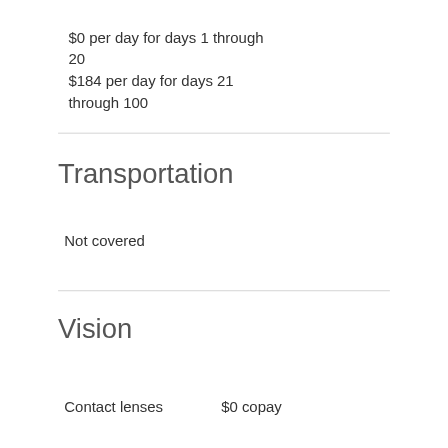$0 per day for days 1 through 20
$184 per day for days 21 through 100
Transportation
Not covered
Vision
Contact lenses    $0 copay